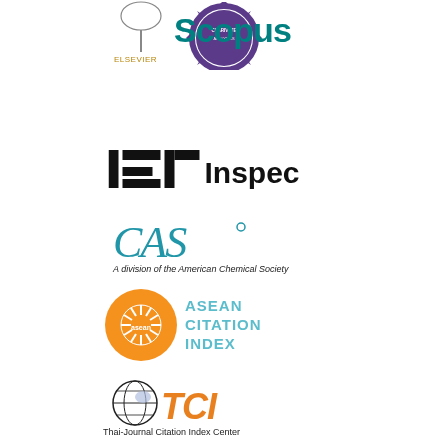[Figure (logo): Clarivate Analytics badge/seal logo - purple gear/cog shape with text around the edge]
[Figure (logo): Elsevier Scopus logo - Elsevier tree illustration with SCOPUS text in teal]
[Figure (logo): IET Inspec logo - black IET symbol and Inspec text]
[Figure (logo): CAS logo - blue CAS letters with tagline 'A division of the American Chemical Society']
[Figure (logo): ASEAN Citation Index logo - orange ASEAN emblem with blue/teal text]
[Figure (logo): TCI Thai-Journal Citation Index Center logo - globe with TCI text]